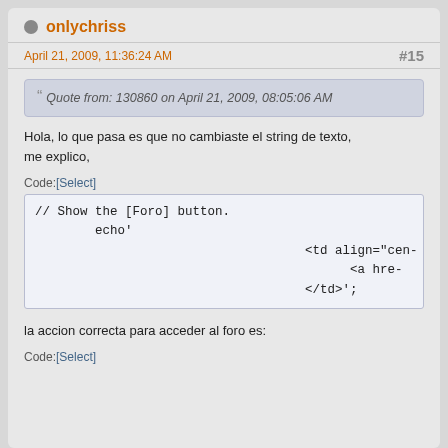onlychriss
April 21, 2009, 11:36:24 AM
#15
Quote from: 130860 on April 21, 2009, 08:05:06 AM
Hola, lo que pasa es que no cambiaste el string de texto, me explico,
Code:[Select]
// Show the [Foro] button.
        echo'
                                          <td align="cen-
                                                <a hre-
                                          </td>';
la accion correcta para acceder al foro es:
Code:[Select]